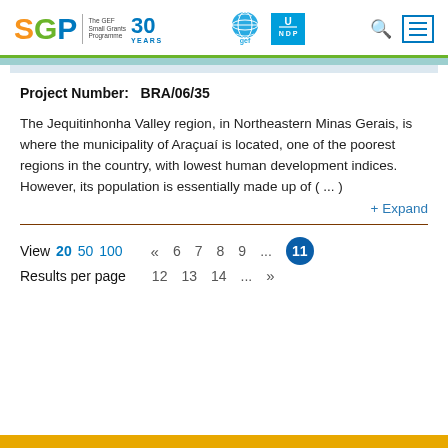SGP The GEF Small Grants Programme 30 YEARS | GEF UNDP logos | search | menu
Project Number:  BRA/06/35
The Jequitinhonha Valley region, in Northeastern Minas Gerais, is where the municipality of Araçuaí is located, one of the poorest regions in the country, with lowest human development indices. However, its population is essentially made up of ( ... )
+ Expand
View  20  50  100
Results per page
«  6  7  8  9  ...  11
12  13  14  ...  »